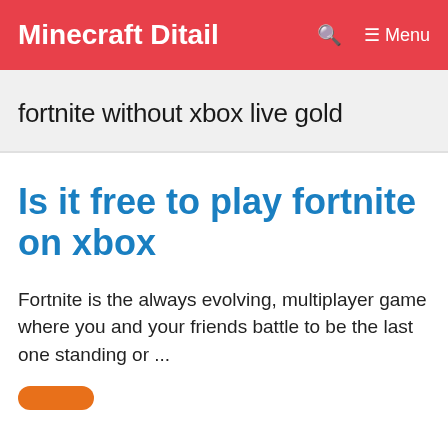Minecraft Ditail  🔍  ☰ Menu
fortnite without xbox live gold
Is it free to play fortnite on xbox
Fortnite is the always evolving, multiplayer game where you and your friends battle to be the last one standing or ...